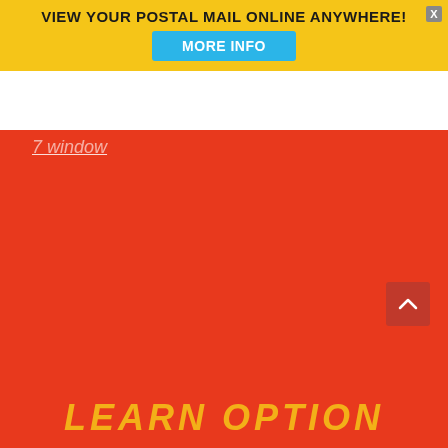[Figure (screenshot): Advertisement banner with yellow background showing 'VIEW YOUR POSTAL MAIL ONLINE ANYWHERE!' text and a 'MORE INFO' blue button, with a close X button in the top right corner]
[Figure (screenshot): Large red area with partially visible white italic underlined text reading '7 window' in the upper left, and a dark red scroll-up arrow button in the lower right]
[Figure (screenshot): Bottom red section with large partial yellow italic bold text visible, likely beginning of a section heading]